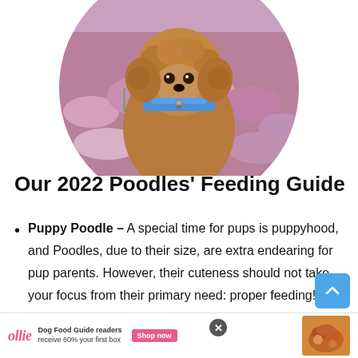[Figure (photo): Circular cropped photo of a curly-haired dog (Poodle) with a blue collar/harness, surrounded by pink heather flowers in an outdoor setting.]
Our 2022 Poodles' Feeding Guide
Puppy Poodle – A special time for pups is puppyhood, and Poodles, due to their size, are extra endearing for pup parents. However, their cuteness should not take your focus from their primary need: proper feeding! At this stage, they should be receiving their nutrition from dog foods that are made for puppies – this is because protein to fat and carb ratios are
[Figure (advertisement): Ollie dog food advertisement banner: 'Dog Food Guide readers receive 60% your first box' with Shop now button and food image.]